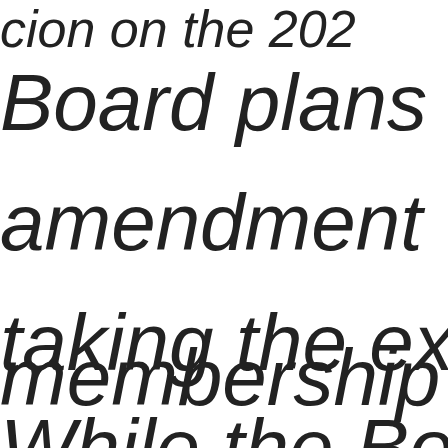tion on the 202...
Board plans to prop...
amendment that wo...
taking the exam is n...
membership right.
While the Board still...